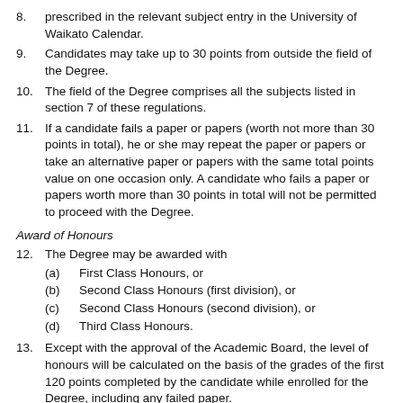8. prescribed in the relevant subject entry in the University of Waikato Calendar.
9. Candidates may take up to 30 points from outside the field of the Degree.
10. The field of the Degree comprises all the subjects listed in section 7 of these regulations.
11. If a candidate fails a paper or papers (worth not more than 30 points in total), he or she may repeat the paper or papers or take an alternative paper or papers with the same total points value on one occasion only. A candidate who fails a paper or papers worth more than 30 points in total will not be permitted to proceed with the Degree.
Award of Honours
12. The Degree may be awarded with (a) First Class Honours, or (b) Second Class Honours (first division), or (c) Second Class Honours (second division), or (d) Third Class Honours.
13. Except with the approval of the Academic Board, the level of honours will be calculated on the basis of the grades of the first 120 points completed by the candidate while enrolled for the Degree, including any failed paper.